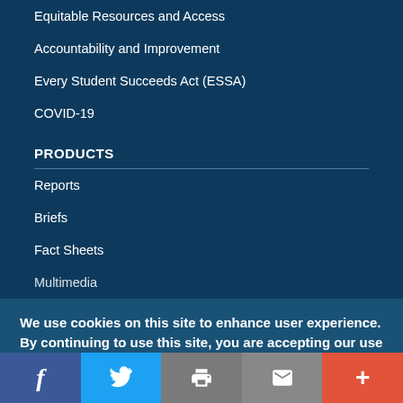Equitable Resources and Access
Accountability and Improvement
Every Student Succeeds Act (ESSA)
COVID-19
PRODUCTS
Reports
Briefs
Fact Sheets
Multimedia
We use cookies on this site to enhance user experience. By continuing to use this site, you are accepting our use of cookies.
[Figure (infographic): Social sharing bar with Facebook, Twitter, Print, Email, and More buttons]